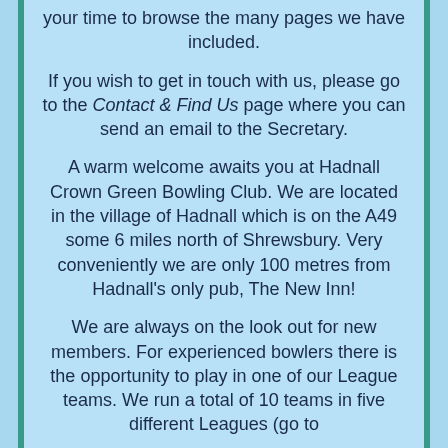your time to browse the many pages we have included.
If you wish to get in touch with us, please go to the Contact & Find Us page where you can send an email to the Secretary.
A warm welcome awaits you at Hadnall Crown Green Bowling Club. We are located in the village of Hadnall which is on the A49 some 6 miles north of Shrewsbury. Very conveniently we are only 100 metres from Hadnall's only pub, The New Inn!
We are always on the look out for new members. For experienced bowlers there is the opportunity to play in one of our League teams. We run a total of 10 teams in five different Leagues (go to